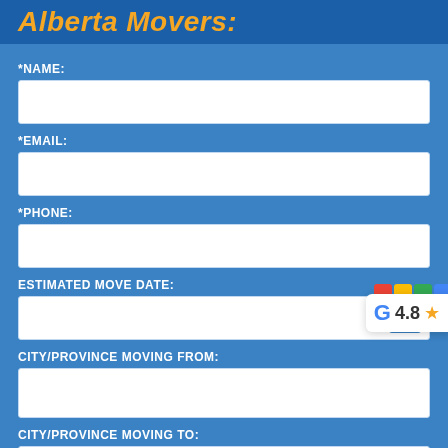Alberta Movers:
*NAME:
*EMAIL:
*PHONE:
ESTIMATED MOVE DATE:
CITY/PROVINCE MOVING FROM:
CITY/PROVINCE MOVING TO:
[Figure (logo): Google rating badge showing G logo, score 4.8 and star icon]